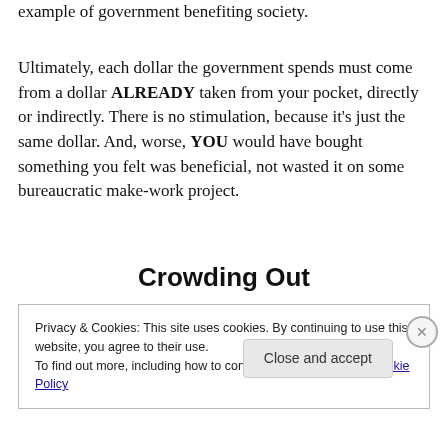example of government benefiting society.
Ultimately, each dollar the government spends must come from a dollar ALREADY taken from your pocket, directly or indirectly. There is no stimulation, because it’s just the same dollar. And, worse, YOU would have bought something you felt was beneficial, not wasted it on some bureaucratic make-work project.
Crowding Out
Privacy & Cookies: This site uses cookies. By continuing to use this website, you agree to their use.
To find out more, including how to control cookies, see here: Cookie Policy
Close and accept